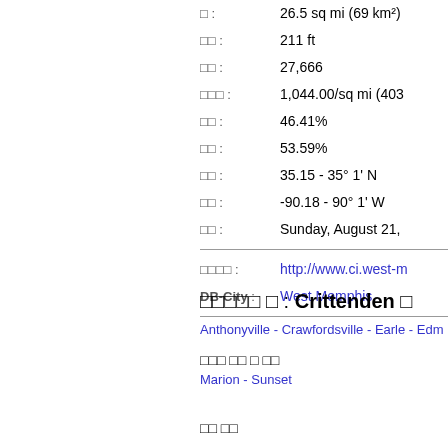| Label | Value |
| --- | --- |
| □ : | 26.5 sq mi (69 km²) |
| □□ : | 211 ft |
| □□ : | 27,666 |
| □□□ : | 1,044.00/sq mi (403 |
| □□ : | 46.41% |
| □□ : | 53.59% |
| □□ : | 35.15 - 35° 1' N |
| □□ : | -90.18 - 90° 1' W |
| □□ : | Sunday, August 21, |
| Label | Value |
| --- | --- |
| □□□□ : | http://www.ci.west-m |
| DB-City : | West Memphis |
□□□□□ □ : Crittenden □
Anthonyville - Crawfordsville - Earle - Edm
□□□ □□ □ □□
Marion - Sunset
□□ □□